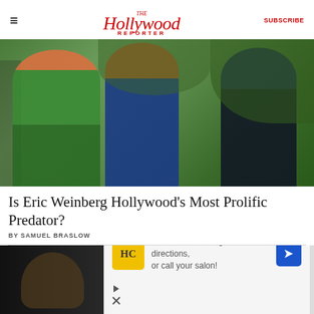The Hollywood Reporter | SUBSCRIBE
[Figure (photo): Three women standing outdoors in front of greenery and a fence. Left woman wears a green floral wrap dress; center woman wears a rust/brown top and navy skirt; right woman wears a navy top and black blazer with black pants.]
Is Eric Weinberg Hollywood's Most Prolific Predator?
BY SAMUEL BRASLOW
[Figure (photo): Partially visible photo below the dotted divider, showing a person in a dark setting. An advertisement overlay is shown at the bottom with: HC logo (yellow square), text reading 'View store hours, get directions, or call your salon!', a blue navigation arrow icon, a close X button, and small play/X icons.]
View store hours, get directions, or call your salon!